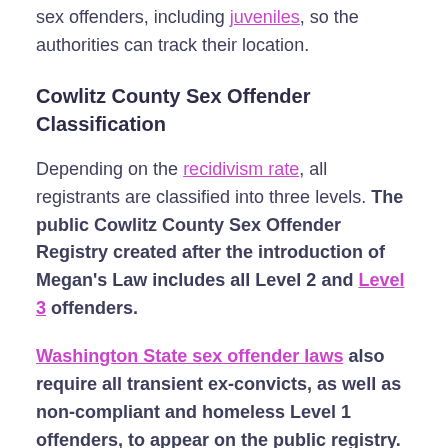sex offenders, including juveniles, so the authorities can track their location.
Cowlitz County Sex Offender Classification
Depending on the recidivism rate, all registrants are classified into three levels. The public Cowlitz County Sex Offender Registry created after the introduction of Megan's Law includes all Level 2 and Level 3 offenders.
Washington State sex offender laws also require all transient ex-convicts, as well as non-compliant and homeless Level 1 offenders, to appear on the public registry.
Currently, Level 1 offenders are not listed, but...